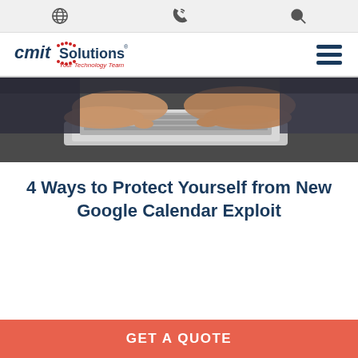CMIT Solutions - Your Technology Team
[Figure (logo): CMIT Solutions logo with tagline 'Your Technology Team' and navigation icons (globe, phone, search) and hamburger menu]
[Figure (photo): Person's arms and hands typing on a laptop keyboard, close-up shot]
4 Ways to Protect Yourself from New Google Calendar Exploit
GET A QUOTE